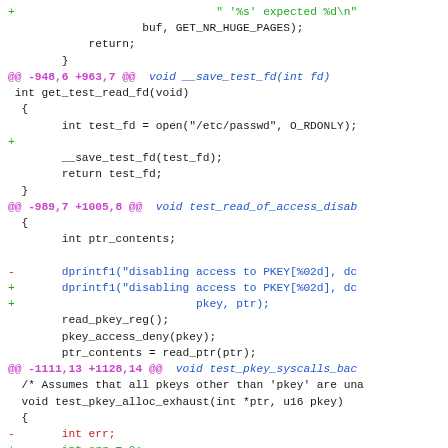[Figure (screenshot): A git diff / code patch showing changes to C source code with hunk headers, added lines (green/+), and removed lines (red/-). Code includes functions like get_test_read_fd, test_read_of_access_disab, and test_pkey_alloc_exhaust.]